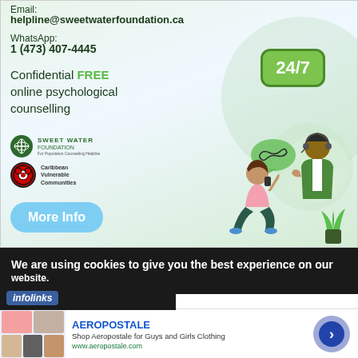[Figure (illustration): Sweet Water Foundation advertisement with email helpline@sweetwaterfoundation.ca, WhatsApp 1 (473) 407-4445, Confidential FREE online psychological counselling, 24/7 badge, Sweet Water Foundation and Caribbean Vulnerable Communities logos, More Info button, illustration of person talking on phone and counsellor]
We are using cookies to give you the best experience on our website.
[Figure (screenshot): infolinks ad bar]
[Figure (screenshot): Aeropostale advertisement: Shop Aeropostale for Guys and Girls Clothing, www.aeropostale.com]